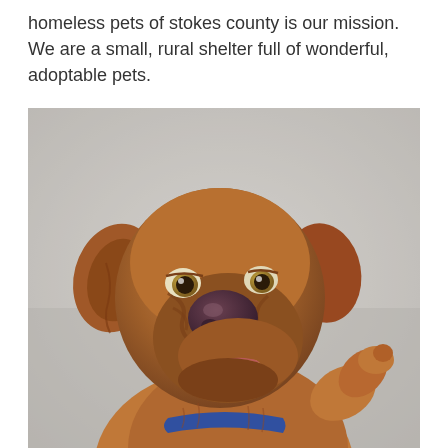homeless pets of stokes county is our mission. We are a small, rural shelter full of wonderful, adoptable pets.
[Figure (photo): A brown/tan mixed-breed dog with a wrinkled, scrunched-up face looking upward with one paw raised, wearing a blue collar, photographed against a light gray background.]